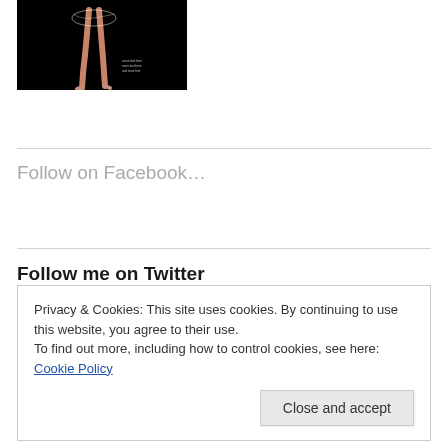[Figure (photo): A ballet dancer on pointe against a black background, legs and tutu visible, with small white text overlay in lower right.]
Follow on Facebook…
Follow me on Twitter
Privacy & Cookies: This site uses cookies. By continuing to use this website, you agree to their use.
To find out more, including how to control cookies, see here: Cookie Policy